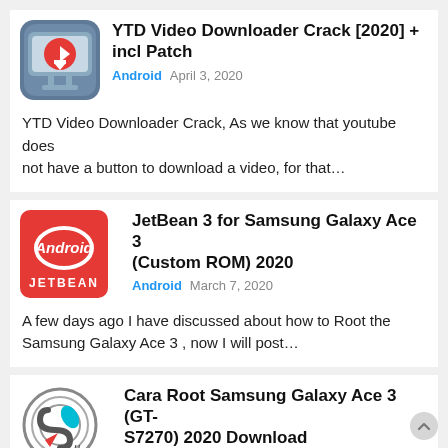YTD Video Downloader Crack [2020] + incl Patch
Android   April 3, 2020
YTD Video Downloader Crack, As we know that youtube does not have a button to download a video, for that…
JetBean 3 for Samsung Galaxy Ace 3 (Custom ROM) 2020
Android   March 7, 2020
A few days ago I have discussed about how to Root the Samsung Galaxy Ace 3 , now I will post…
Cara Root Samsung Galaxy Ace 3 (GT-S7270) 2020 Download
Android   March 3, 2020
Hit2k.com – Root on Android serves to give full rights to the